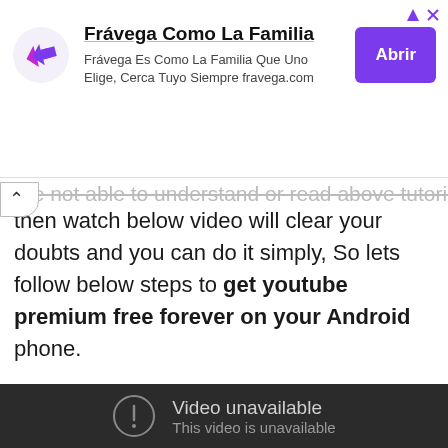[Figure (screenshot): Advertisement banner for Frávega Como La Familia with logo, text, and purple Abrir button]
are not able to understand or read above tutorial then watch below video will clear your doubts and you can do it simply, So lets follow below steps to get youtube premium free forever on your Android phone.
[Figure (screenshot): Embedded video player showing 'Video unavailable - This video is unavailable' message on dark background]